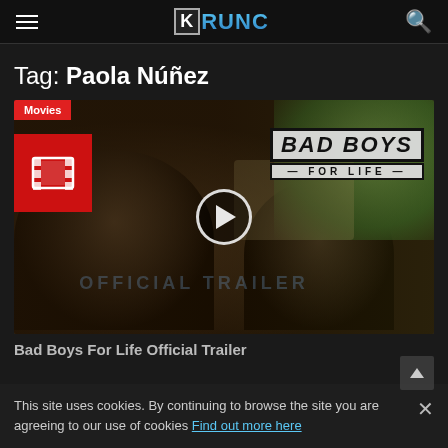KRUNC
Tag: Paola Núñez
[Figure (screenshot): Movie thumbnail for Bad Boys For Life with two actors in a car, red Movies badge top-left, red film strip icon, Bad Boys For Life logo top-right, play button in center, 'OFFICIAL TRAILER' watermark]
This site uses cookies. By continuing to browse the site you are agreeing to our use of cookies Find out more here
Bad Boys For Life Official Trailer